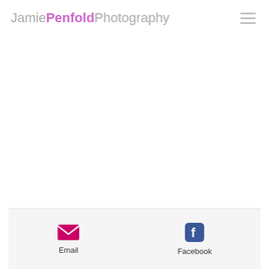JamiePenfoldPhotography
[Figure (logo): JamiePenfoldPhotography website header logo with hamburger menu icon]
Email  Facebook